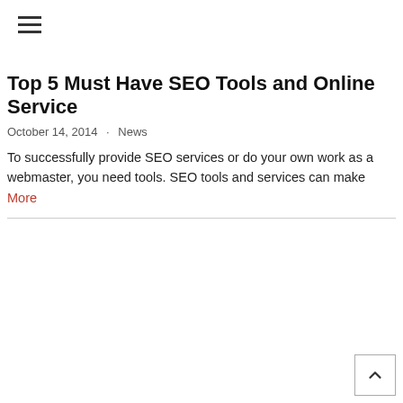☰
Top 5 Must Have SEO Tools and Online Service
October 14, 2014  ·  News
To successfully provide SEO services or do your own work as a webmaster, you need tools. SEO tools and services can make More